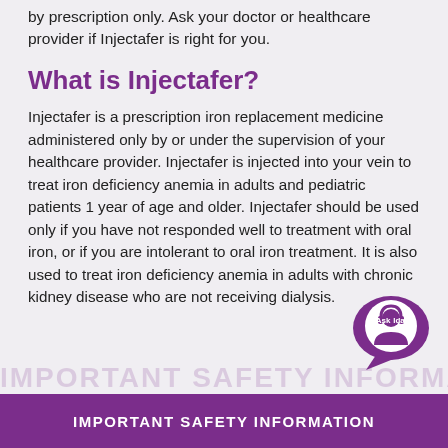by prescription only. Ask your doctor or healthcare provider if Injectafer is right for you.
What is Injectafer?
Injectafer is a prescription iron replacement medicine administered only by or under the supervision of your healthcare provider. Injectafer is injected into your vein to treat iron deficiency anemia in adults and pediatric patients 1 year of age and older. Injectafer should be used only if you have not responded well to treatment with oral iron, or if you are intolerant to oral iron treatment. It is also used to treat iron deficiency anemia in adults with chronic kidney disease who are not receiving dialysis.
[Figure (illustration): Ask Ida chat bubble badge with a person icon and headset]
IMPORTANT SAFETY INFORMATION